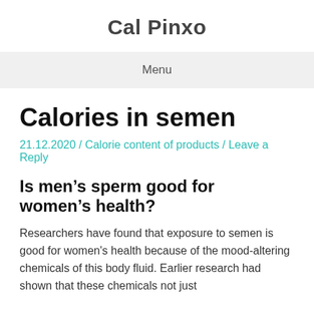Cal Pinxo
Menu
Calories in semen
21.12.2020 / Calorie content of products / Leave a Reply
Is men’s sperm good for women’s health?
Researchers have found that exposure to semen is good for women's health because of the mood-altering chemicals of this body fluid. Earlier research had shown that these chemicals not just